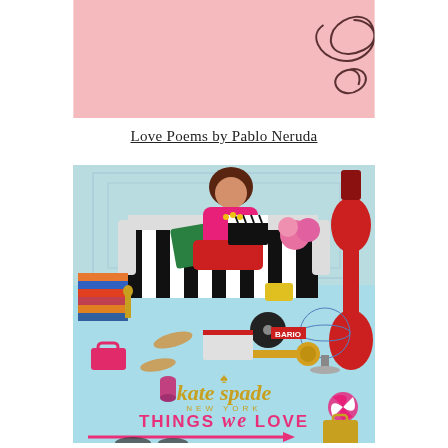[Figure (illustration): Pink book cover or decorative image with swirl/curl design on a pink background, cropped at top]
Love Poems by Pablo Neruda
[Figure (photo): Kate Spade New York 'Things We Love' book cover featuring a woman in pink sitting on a black-and-white striped sofa surrounded by various colorful objects on a light blue background. Gold Kate Spade branding and pink arrow at bottom.]